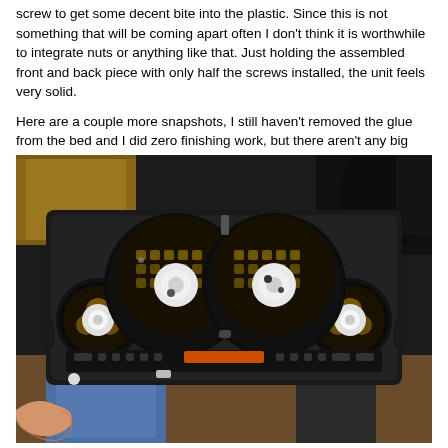screw to get some decent bite into the plastic. Since this is not something that will be coming apart often I don't think it is worthwhile to integrate nuts or anything like that. Just holding the assembled front and back piece with only half the screws installed, the unit feels very solid.
Here are a couple more snapshots, I still haven't removed the glue from the bed and I did zero finishing work, but there aren't any big bubble spots :). And yes... the ABS is switched to transparent partway through. Finally burned through my first kg of plastic!
[Figure (photo): A 3D-printed black ABS instrument cluster housing held by a person. The cluster shows two large circular gauge openings in the center with PCB/LED components visible inside, and two smaller circular gauge openings on the left and right sides. The interior shows circuit boards with gold-colored honeycomb patterns. The bottom of the cluster has rectangular connectors. The background shows a wooden cabinet and a black chair.]